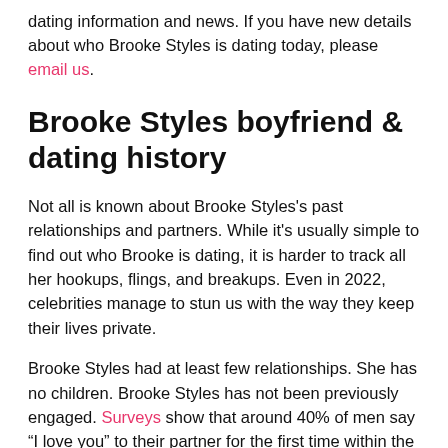dating information and news. If you have new details about who Brooke Styles is dating today, please email us.
Brooke Styles boyfriend & dating history
Not all is known about Brooke Styles's past relationships and partners. While it's usually simple to find out who Brooke is dating, it is harder to track all her hookups, flings, and breakups. Even in 2022, celebrities manage to stun us with the way they keep their lives private.
Brooke Styles had at least few relationships. She has no children. Brooke Styles has not been previously engaged. Surveys show that around 40% of men say “I love you” to their partner for the first time within the first month of a relationship, but men wait 90 days on average, and women